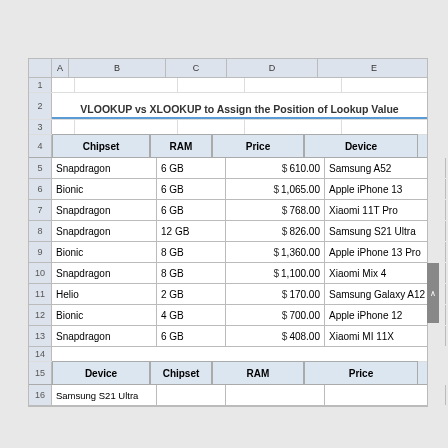VLOOKUP vs XLOOKUP to Assign the Position of Lookup Value
| Chipset | RAM | Price | Device |
| --- | --- | --- | --- |
| Snapdragon | 6 GB | $ 610.00 | Samsung A52 |
| Bionic | 6 GB | $ 1,065.00 | Apple iPhone 13 |
| Snapdragon | 6 GB | $ 768.00 | Xiaomi 11T Pro |
| Snapdragon | 12 GB | $ 826.00 | Samsung S21 Ultra |
| Bionic | 8 GB | $ 1,360.00 | Apple iPhone 13 Pro |
| Snapdragon | 8 GB | $ 1,100.00 | Xiaomi Mix 4 |
| Helio | 2 GB | $ 170.00 | Samsung Galaxy A12 |
| Bionic | 4 GB | $ 700.00 | Apple iPhone 12 |
| Snapdragon | 6 GB | $ 408.00 | Xiaomi MI 11X |
| Device | Chipset | RAM | Price |
| --- | --- | --- | --- |
| Samsung S21 Ultra |  |  |  |